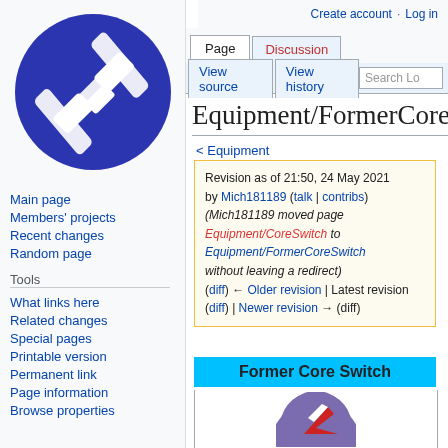Create account  Log in
[Figure (logo): Wiki-style logo: white H-shaped icon on dark blue circle background]
Main page
Members' projects
Recent changes
Random page
Tools
What links here
Related changes
Special pages
Printable version
Permanent link
Page information
Browse properties
Equipment/FormerCore
< Equipment
Revision as of 21:50, 24 May 2021 by Mich181189 (talk | contribs) (Mich181189 moved page Equipment/CoreSwitch to Equipment/FormerCoreSwitch without leaving a redirect) (diff) ← Older revision | Latest revision (diff) | Newer revision → (diff)
Former Core Switch
[Figure (logo): Partial circular logo with red and white arrow on blue/purple background]